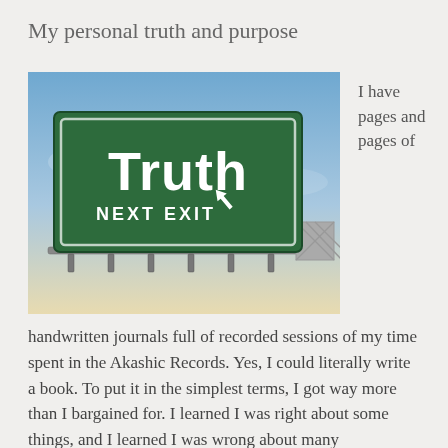My personal truth and purpose
[Figure (photo): A green highway-style road sign reading 'Truth' with 'NEXT EXIT' and an arrow pointing upper-right, mounted on a metal gantry against a blue and light-yellow sky background.]
I have pages and pages of
handwritten journals full of recorded sessions of my time spent in the Akashic Records. Yes, I could literally write a book. To put it in the simplest terms, I got way more than I bargained for. I learned I was right about some things, and I learned I was wrong about many